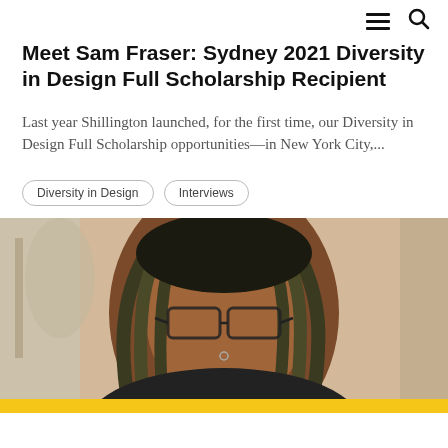≡ 🔍
Meet Sam Fraser: Sydney 2021 Diversity in Design Full Scholarship Recipient
Last year Shillington launched, for the first time, our Diversity in Design Full Scholarship opportunities—in New York City,...
Diversity in Design
Interviews
[Figure (photo): Portrait photo of Sam Fraser, a young woman with green/olive braided locs and glasses, smiling at the camera. She is wearing a dark hoodie and has a nose piercing. The background is slightly blurred showing an indoor setting.]